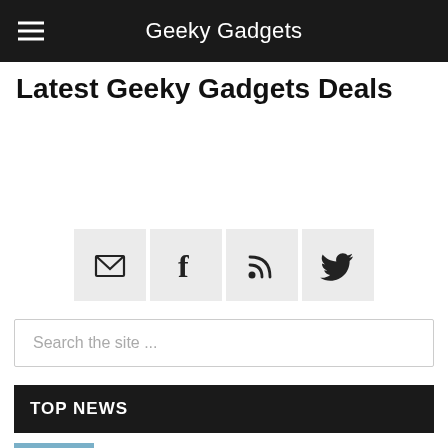Geeky Gadgets
Latest Geeky Gadgets Deals
[Figure (other): Social media icons: email, Facebook, RSS feed, Twitter]
Search the site ...
TOP NEWS
How to connect your old Apple Watch to a